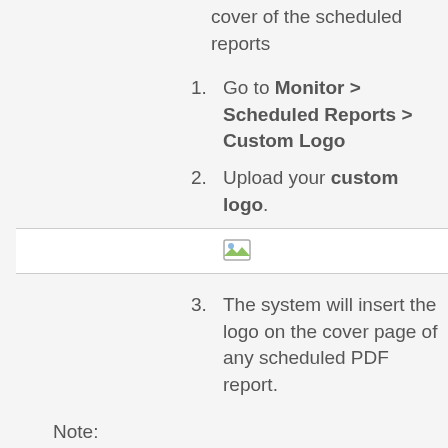cover of the scheduled reports
1. Go to Monitor > Scheduled Reports > Custom Logo
2. Upload your custom logo.
[Figure (screenshot): Image upload placeholder icon]
3. The system will insert the logo on the cover page of any scheduled PDF report.
Note:
Files should be no more than 300px wide by 300px high and must be in PNG format with the maximum file size of 3MB.
If the optimizer is off then